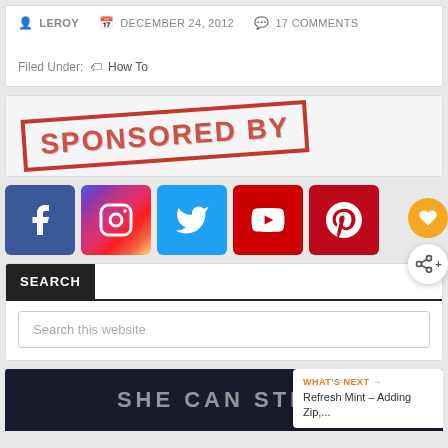LEROY   DECEMBER 24, 2012   17 COMMENTS
Filed Under: How To
[Figure (illustration): Sponsored By stamp image - red rectangular border with bold red text reading SPONSORED BY, slightly rotated]
[Figure (infographic): Row of social media icon buttons: Facebook (blue), Instagram (purple gradient), Twitter (light blue), YouTube (red), Pinterest (red)]
SEARCH
Search this website
WHAT'S NEXT → Refresh Mint – Adding Zip,...
SHE CAN STEM